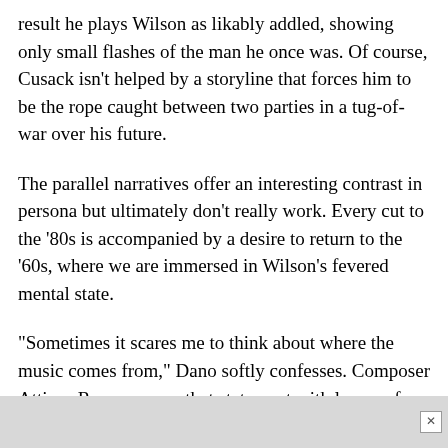result he plays Wilson as likably addled, showing only small flashes of the man he once was. Of course, Cusack isn't helped by a storyline that forces him to be the rope caught between two parties in a tug-of-war over his future.
The parallel narratives offer an interesting contrast in persona but ultimately don't really work. Every cut to the '80s is accompanied by a desire to return to the '60s, where we are immersed in Wilson's fevered mental state.
"Sometimes it scares me to think about where the music comes from," Dano softly confesses. Composer Atticus Ross answers that statement with layers of dense, abstract aural collages that build into the joyful harmonies Wilson is known for. At times we're unclear as to whether we're hearing the actual music, a metaphorical representation of